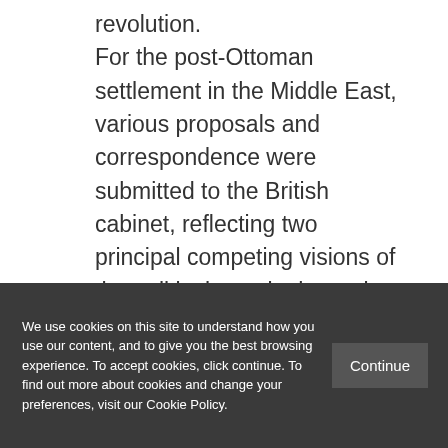revolution.

For the post-Ottoman settlement in the Middle East, various proposals and correspondence were submitted to the British cabinet, reflecting two principal competing visions of the political map in the region. The first was based on ethnic-sectarian and geographic realities, the second on strategic and economic imperial
We use cookies on this site to understand how you use our content, and to give you the best browsing experience. To accept cookies, click continue. To find out more about cookies and change your preferences, visit our Cookie Policy.